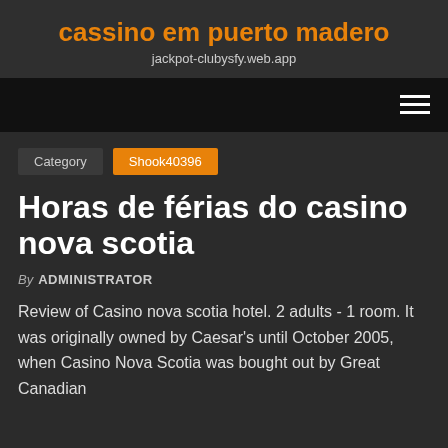cassino em puerto madero
jackpot-clubysfy.web.app
Category   Shook40396
Horas de férias do casino nova scotia
By ADMINISTRATOR
Review of Casino nova scotia hotel. 2 adults - 1 room. It was originally owned by Caesar's until October 2005, when Casino Nova Scotia was bought out by Great Canadian